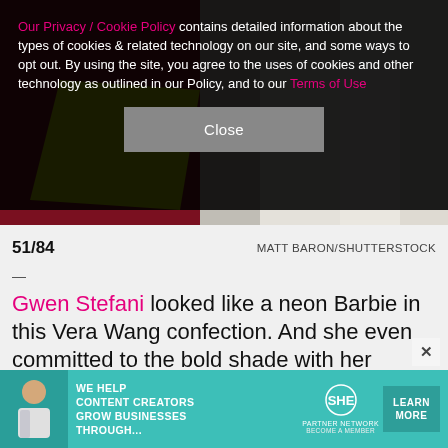Our Privacy / Cookie Policy contains detailed information about the types of cookies & related technology on our site, and some ways to opt out. By using the site, you agree to the uses of cookies and other technology as outlined in our Policy, and to our Terms of Use
Close
[Figure (photo): Partial photo of a neon yellow-green and burgundy/beige clothing item against a dark red/neutral background]
51/84
MATT BARON/SHUTTERSTOCK
—
Gwen Stefani looked like a neon Barbie in this Vera Wang confection. And she even committed to the bold shade with her nails…
[Figure (infographic): Advertisement banner: SHE Media Partner Network - We help content creators grow businesses through... Learn More button]